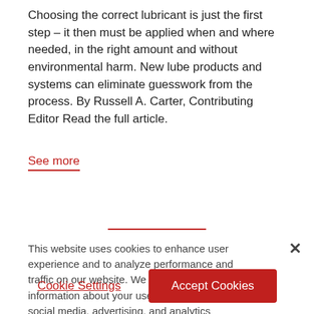Choosing the correct lubricant is just the first step – it then must be applied when and where needed, in the right amount and without environmental harm. New lube products and systems can eliminate guesswork from the process. By Russell A. Carter, Contributing Editor Read the full article.
See more
This website uses cookies to enhance user experience and to analyze performance and traffic on our website. We also share information about your use of our site with our social media, advertising, and analytics partners.
Cookie Settings
Accept Cookies